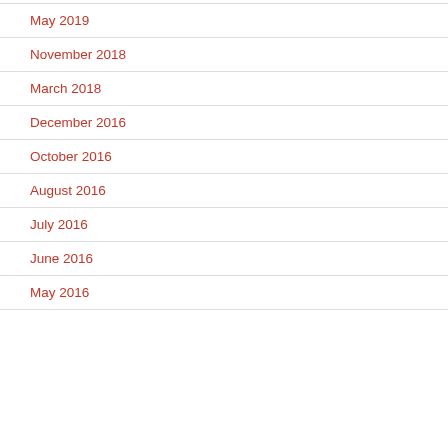May 2019
November 2018
March 2018
December 2016
October 2016
August 2016
July 2016
June 2016
May 2016